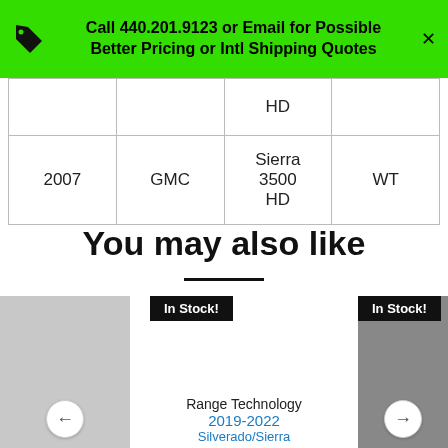Call 440.201.9123 or Email for Possible Better Pricing or Intl Shipping Quotes
| Year | Make | Model | Submodel |
| --- | --- | --- | --- |
|  |  | HD |  |
| 2007 | GMC | Sierra 3500 HD | WT |
You may also like
[Figure (other): Product card row showing two partially visible product images with In Stock! badges and a Range Technology 2019-2022 Silverado/Sierra product card in the center]